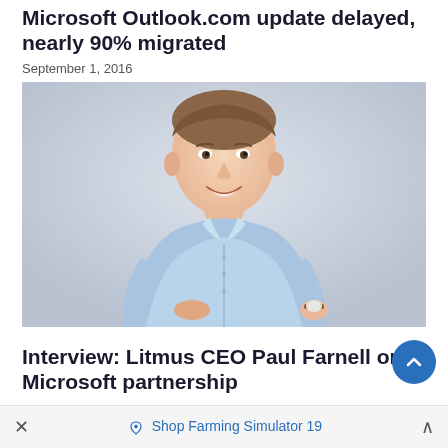Microsoft Outlook.com update delayed, nearly 90% migrated
September 1, 2016
[Figure (photo): A young man in a light blue button-up shirt smiling, wearing a watch with a brown leather strap, photographed against a light grey background from waist up.]
Interview: Litmus CEO Paul Farnell on Microsoft partnership
Shop Farming Simulator 19